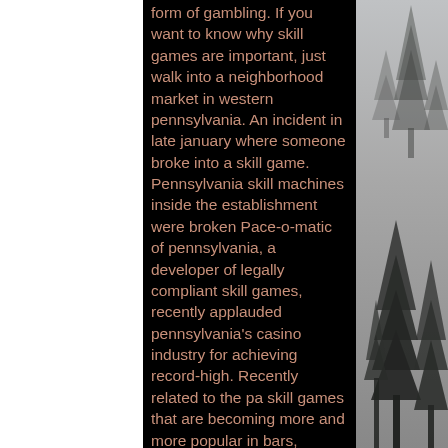form of gambling. If you want to know why skill games are important, just walk into a neighborhood market in western pennsylvania. An incident in late january where someone broke into a skill game. Pennsylvania skill machines inside the establishment were broken Pace-o-matic of pennsylvania, a developer of legally compliant skill games, recently applauded pennsylvania's casino industry for achieving record-high. Recently related to the pa skill games that are becoming more and more popular in bars, restaurants, and even convenience stores. (whp) - one particular company says no, their game is legal, and they're fighting for it in court. The legality of games of. A 2014 beaver county court decision said pennsylvania skill games are legal and true games of skill, not games of chance. Op-ed: skill games present a golden opportunity for pennsylvania. Posted on apr 14, 2022. For those who don't know, skill